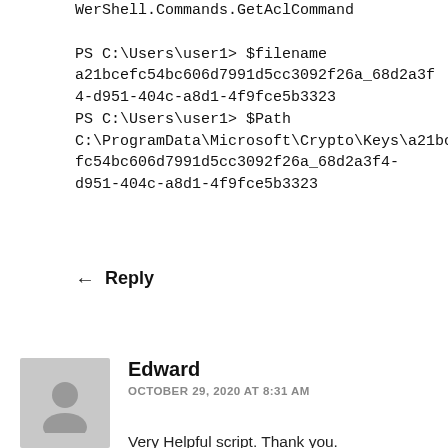WeIShell.Commands.GetAclCommand

PS C:\Users\user1> $filename a21bcefc54bc606d7991d5cc3092f26a_68d2a3f4-d951-404c-a8d1-4f9fce5b3323
PS C:\Users\user1> $Path C:\ProgramData\Microsoft\Crypto\Keys\a21bcefc54bc606d7991d5cc3092f26a_68d2a3f4-d951-404c-a8d1-4f9fce5b3323
Reply
Edward
OCTOBER 29, 2020 AT 8:31 AM
Very Helpful script. Thank you.
I am getting an error for the following line:
$rsaCert =
[System.SecurityCryptography.X509Certificate